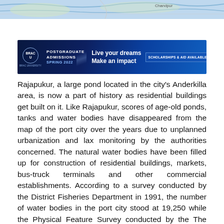[Figure (map): Partial map image showing a geographic area with blue water features and place name 'Chandpur' visible]
[Figure (other): BRAC University advertisement banner: Postgraduate Admissions Spring 2022, Live your dreams Make an impact, Scholarships & Aid Available, Deadline: 3 January, 2022, Click Here & Apply!]
Rajapukur, a large pond located in the city's Anderkilla area, is now a part of history as residential buildings get built on it. Like Rajapukur, scores of age-old ponds, tanks and water bodies have disappeared from the map of the port city over the years due to unplanned urbanization and lax monitoring by the authorities concerned. The natural water bodies have been filled up for construction of residential buildings, markets, bus-truck terminals and other commercial establishments. According to a survey conducted by the District Fisheries Department in 1991, the number of water bodies in the port city stood at 19,250 while the Physical Feature Survey conducted by the The Chittagong Development Authority in 2006-2007 revealed the existence of 4,523 water bodies there